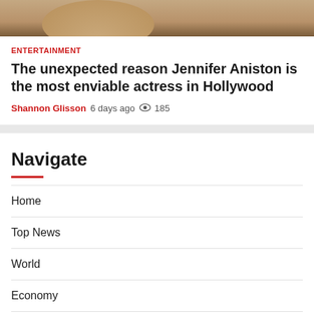[Figure (photo): Partial photo of a person with blonde hair, with a '2 min read' badge overlay]
ENTERTAINMENT
The unexpected reason Jennifer Aniston is the most enviable actress in Hollywood
Shannon Glisson  6 days ago  👁 185
Navigate
Home
Top News
World
Economy
science
Tech